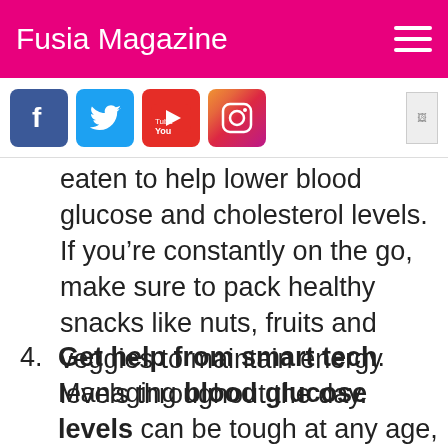Fusia Magazine
eaten to help lower blood glucose and cholesterol levels. If you’re constantly on the go, make sure to pack healthy snacks like nuts, fruits and veggies to maintain energy levels throughout the day.
4. Get help from smart tech. Managing blood glucose levels can be tough at any age, but new technology can help simplify the process when you’re on the move.